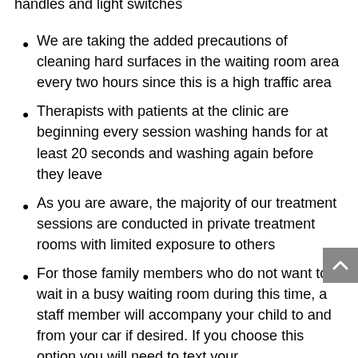handles and light switches
We are taking the added precautions of cleaning hard surfaces in the waiting room area every two hours since this is a high traffic area
Therapists with patients at the clinic are beginning every session washing hands for at least 20 seconds and washing again before they leave
As you are aware, the majority of our treatment sessions are conducted in private treatment rooms with limited exposure to others
For those family members who do not want to wait in a busy waiting room during this time, a staff member will accompany your child to and from your car if desired. If you choose this option you will need to text your